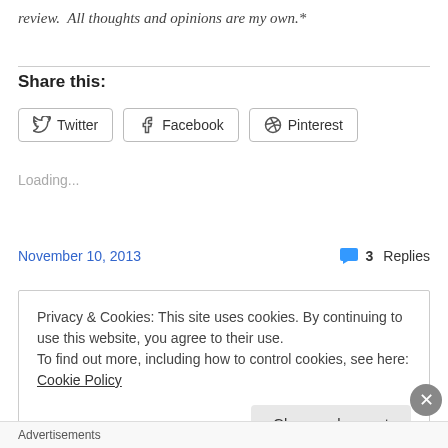review. All thoughts and opinions are my own.*
Share this:
[Figure (screenshot): Share buttons for Twitter, Facebook, and Pinterest]
Loading...
November 10, 2013
3 Replies
Privacy & Cookies: This site uses cookies. By continuing to use this website, you agree to their use. To find out more, including how to control cookies, see here: Cookie Policy
Close and accept
Advertisements